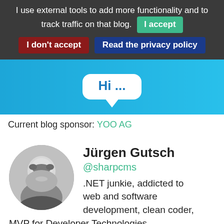I use external tools to add more functionality and to track traffic on that blog.  I accept  I don't accept  Read the privacy policy
[Figure (screenshot): Blue banner area with a white speech bubble containing the text 'Hi ...' in blue]
Current blog sponsor: YOO AG
[Figure (photo): Circular profile photo of Jürgen Gutsch, a middle-aged man smiling, in black and white]
Jürgen Gutsch
@sharpcms
.NET junkie, addicted to web and software development, clean coder, MVP for Developer Technologies